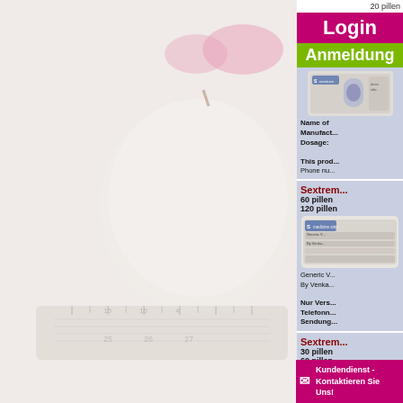20 pillen
Login
Anmeldung
Name of Manufact... Dosage:
This prod... Phone nu...
Sextrem...
60 pillen
120 pillen
Generic V... By Venka...
Nur Vers... Telefonn... Sendung...
Sextrem...
30 pillen
60 pillen
Kundendienst - Kontaktieren Sie Uns!